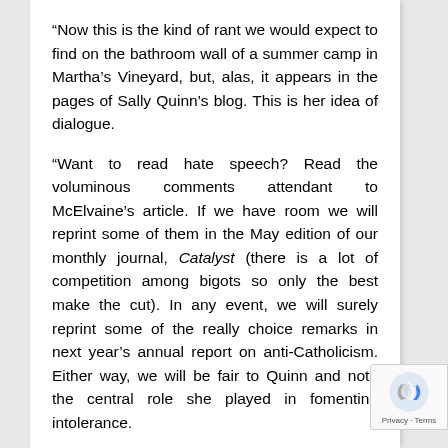“Now this is the kind of rant we would expect to find on the bathroom wall of a summer camp in Martha’s Vineyard, but, alas, it appears in the pages of Sally Quinn’s blog. This is her idea of dialogue.

“Want to read hate speech? Read the voluminous comments attendant to McElvaine’s article. If we have room we will reprint some of them in the May edition of our monthly journal, Catalyst (there is a lot of competition among bigots so only the best make the cut). In any event, we will surely reprint some of the really choice remarks in next year’s annual report on anti-Catholicism. Either way, we will be fair to Quinn and note the central role she played in fomenting intolerance.